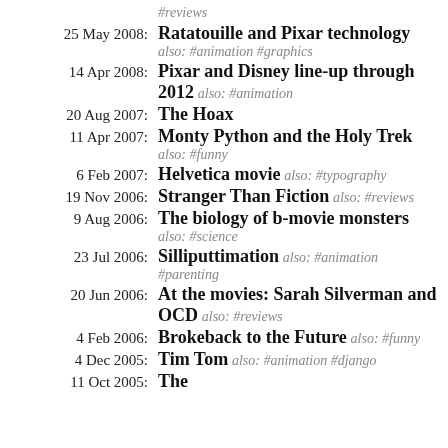#reviews
25 May 2008: Ratatouille and Pixar technology also: #animation #graphics
14 Apr 2008: Pixar and Disney line-up through 2012 also: #animation
20 Aug 2007: The Hoax
11 Apr 2007: Monty Python and the Holy Trek also: #funny
6 Feb 2007: Helvetica movie also: #typography
19 Nov 2006: Stranger Than Fiction also: #reviews
9 Aug 2006: The biology of b-movie monsters also: #science
23 Jul 2006: Silliputtimation also: #animation #parenting
20 Jun 2006: At the movies: Sarah Silverman and OCD also: #reviews
4 Feb 2006: Brokeback to the Future also: #funny
4 Dec 2005: Tim Tom also: #animation #django
11 Oct 2005: ...